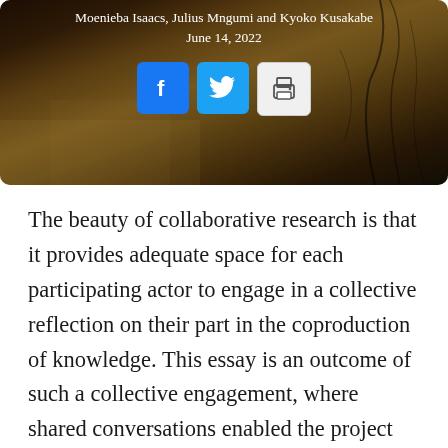[Figure (photo): Hero image of a dark golden landscape/waterscape with text overlay showing authors and date, and social sharing buttons (Facebook, Twitter, Print)]
Moenieba Isaacs, Julius Mngumi and Kyoko Kusakabe
June 14, 2022
The beauty of collaborative research is that it provides adequate space for each participating actor to engage in a collective reflection on their part in the coproduction of knowledge. This essay is an outcome of such a collective engagement, where shared conversations enabled the project team to co-design a research framework to explore the nature of transformative social innovation